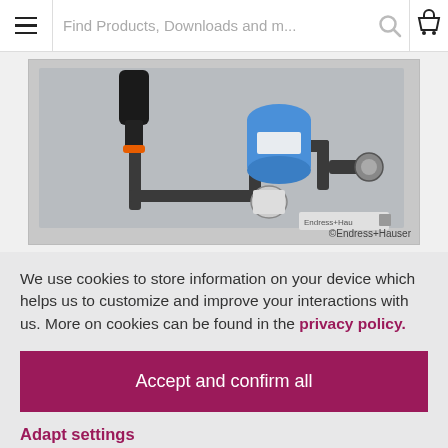Find Products, Downloads and m...
[Figure (photo): Industrial measurement/flow equipment panel with piping, valves, and a blue pneumatic actuator mounted on a grey board. Endress+Hauser logo visible on the panel.]
©Endress+Hauser
We use cookies to store information on your device which helps us to customize and improve your interactions with us. More on cookies can be found in the privacy policy.
Accept and confirm all
Adapt settings